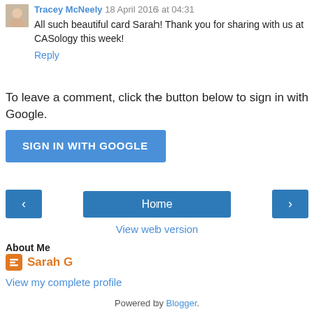Tracey McNeely 18 April 2016 at 04:31
All such beautiful card Sarah! Thank you for sharing with us at CASology this week!
Reply
To leave a comment, click the button below to sign in with Google.
SIGN IN WITH GOOGLE
‹  Home  ›
View web version
About Me
Sarah G
View my complete profile
Powered by Blogger.